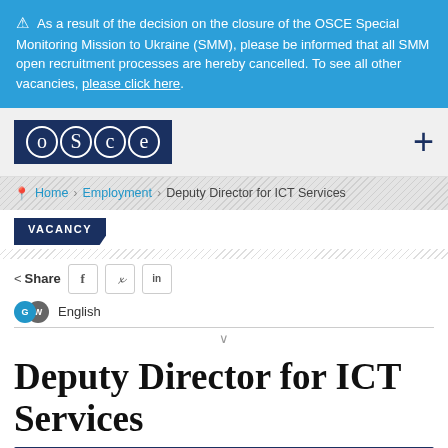⚠ As a result of the decision on the closure of the OSCE Special Monitoring Mission to Ukraine (SMM), please be informed that all SMM open recruitment processes are hereby cancelled. To see all other vacancies, please click here.
[Figure (logo): OSCE logo in dark blue rectangle with circular letters]
Home > Employment > Deputy Director for ICT Services
VACANCY
Share
English
Deputy Director for ICT Services